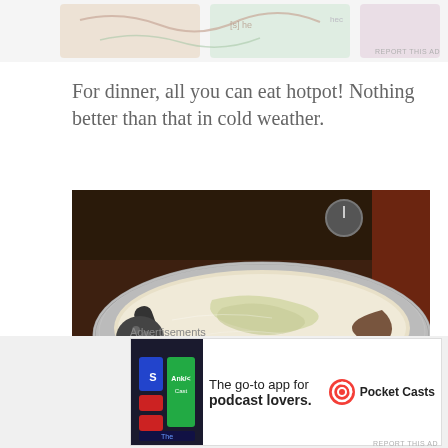[Figure (photo): Advertisement banner at top with colorful illustrated design]
For dinner, all you can eat hotpot! Nothing better than that in cold weather.
[Figure (photo): Close-up photo of a hotpot with boiling broth, cabbage, dumplings, and a ladle in a silver pot on a gas burner]
Advertisements
[Figure (photo): Pocket Casts advertisement: The go-to app for podcast lovers. Shows app icon and Pocket Casts logo.]